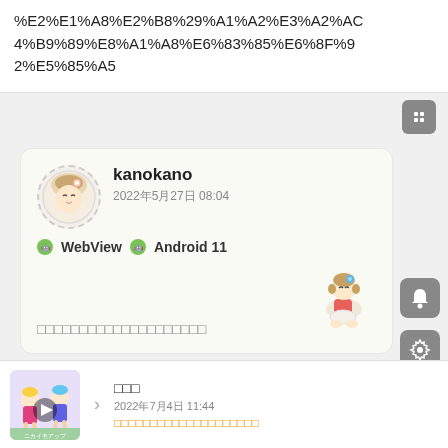%E2%E1%A8%E2%B8%29%A1%A2%E3%A2%AC4%B9%89%E8%A1%A8%E6%83%85%E6%8F%92%E5%85%A5
kanokano
2022年5月27日 08:04
🤖 WebView 🤖 Android 11
□□□□□□□□□□□□□□□□□□□□
□□□
2022年7月4日 11:44
□□□□□□□□□□□□□□□□□□□□